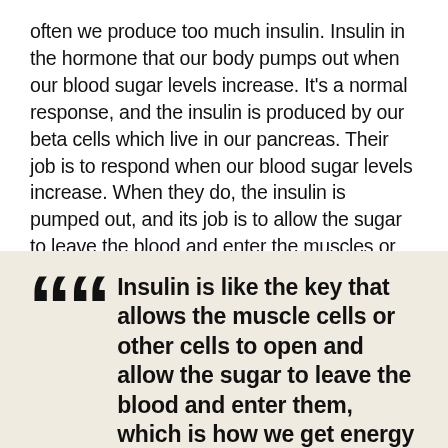often we produce too much insulin. Insulin in the hormone that our body pumps out when our blood sugar levels increase. It's a normal response, and the insulin is produced by our beta cells which live in our pancreas. Their job is to respond when our blood sugar levels increase. When they do, the insulin is pumped out, and its job is to allow the sugar to leave the blood and enter the muscles or wherever it needs to be used in our cells.
“Insulin is like the key that allows the muscle cells or other cells to open and allow the sugar to leave the blood and enter them, which is how we get energy